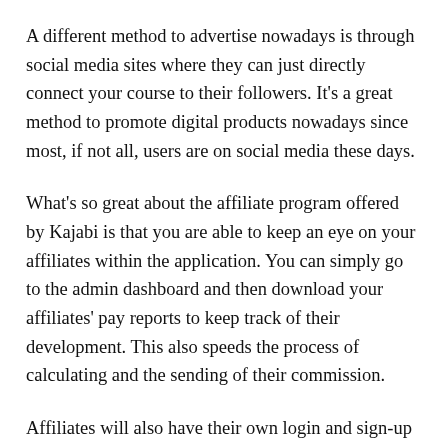A different method to advertise nowadays is through social media sites where they can just directly connect your course to their followers. It's a great method to promote digital products nowadays since most, if not all, users are on social media these days.
What's so great about the affiliate program offered by Kajabi is that you are able to keep an eye on your affiliates within the application. You can simply go to the admin dashboard and then download your affiliates' pay reports to keep track of their development. This also speeds the process of calculating and the sending of their commission.
Affiliates will also have their own login and sign-up page on Kajabi. Every affiliate will have their own private dashboard where they can see all affiliate related...